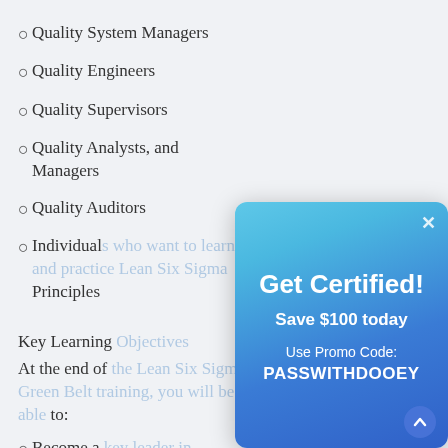Quality System Managers
Quality Engineers
Quality Supervisors
Quality Analysts, and Managers
Quality Auditors
Individuals who want to learn and practice Lean Six Sigma Principles
Key Learning Objectives
At the end of the Lean Six Sigma Green Belt training, you will be able to:
Become a key leader in implementing Lean Six Sigma in your organization
Describe how to identify an improvement project in the Define
[Figure (infographic): Modal overlay with gradient blue background showing 'Get Certified!' promotional message. Text reads: 'Save $100 today', 'Use Promo Code:', 'PASSWITHDOOEY'. Has a close (×) button and an up-arrow button.]